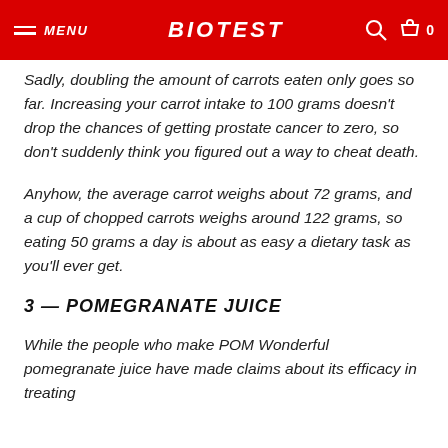MENU | BIOTEST | 0
Sadly, doubling the amount of carrots eaten only goes so far. Increasing your carrot intake to 100 grams doesn't drop the chances of getting prostate cancer to zero, so don't suddenly think you figured out a way to cheat death.
Anyhow, the average carrot weighs about 72 grams, and a cup of chopped carrots weighs around 122 grams, so eating 50 grams a day is about as easy a dietary task as you'll ever get.
3 — POMEGRANATE JUICE
While the people who make POM Wonderful pomegranate juice have made claims about its efficacy in treating